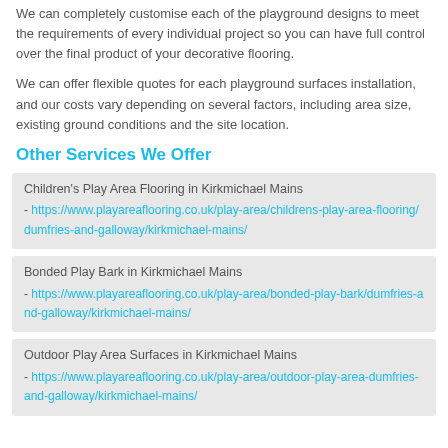We can completely customise each of the playground designs to meet the requirements of every individual project so you can have full control over the final product of your decorative flooring.
We can offer flexible quotes for each playground surfaces installation, and our costs vary depending on several factors, including area size, existing ground conditions and the site location.
Other Services We Offer
Children's Play Area Flooring in Kirkmichael Mains - https://www.playareaflooring.co.uk/play-area/childrens-play-area-flooring/dumfries-and-galloway/kirkmichael-mains/
Bonded Play Bark in Kirkmichael Mains - https://www.playareaflooring.co.uk/play-area/bonded-play-bark/dumfries-and-galloway/kirkmichael-mains/
Outdoor Play Area Surfaces in Kirkmichael Mains - https://www.playareaflooring.co.uk/play-area/outdoor-play-area-dumfries-and-galloway/kirkmichael-mains/